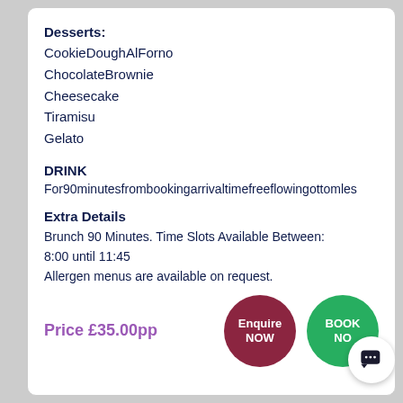Desserts:
CookieDoughAlForno
ChocolateBrownie
Cheesecake
Tiramisu
Gelato
DRINK
For90minutesfrombookingarrivaltimefreeflowingottomles
Extra Details
Brunch 90 Minutes. Time Slots Available Between:
8:00 until 11:45
Allergen menus are available on request.
Price £35.00pp